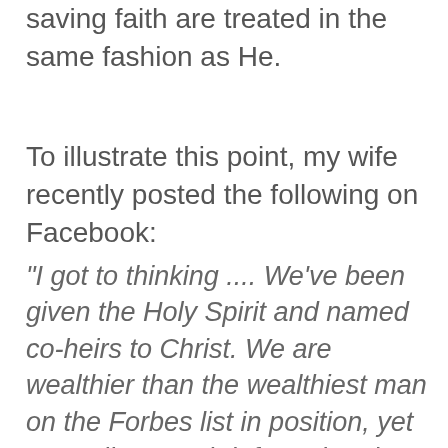saving faith are treated in the same fashion as He.
To illustrate this point, my wife recently posted the following on Facebook:
"I got to thinking .... We've been given the Holy Spirit and named co-heirs to Christ. We are wealthier than the wealthiest man on the Forbes list in position, yet we walk around defeated and beat down. Lets not look at the circumstances around us and lose heart. Lets allow our outer personas to match the gift we have on the inside.